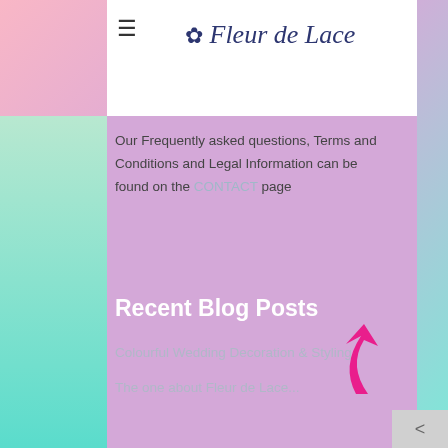Fleur de Lace
Our Frequently asked questions, Terms and Conditions and Legal Information can be found on the CONTACT page
Recent Blog Posts
Colourful Wedding Decoration & Styling
The one about Fleur de Lace...
[Figure (other): Pink upward arrow icon indicating scroll to top]